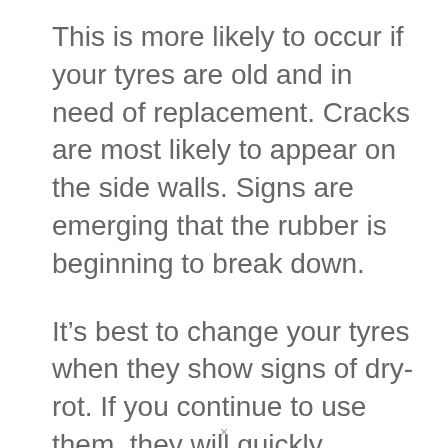This is more likely to occur if your tyres are old and in need of replacement. Cracks are most likely to appear on the side walls. Signs are emerging that the rubber is beginning to break down.
It’s best to change your tyres when they show signs of dry-rot. If you continue to use them, they will quickly degrade.
×